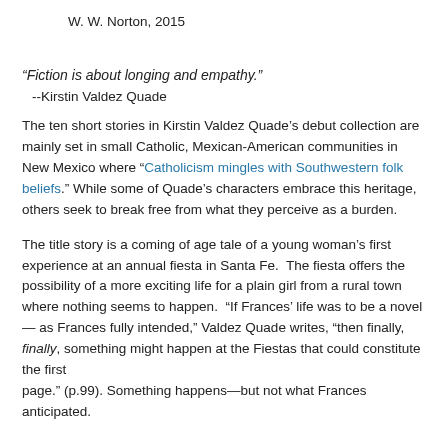W. W. Norton, 2015
“Fiction is about longing and empathy.”
--Kirstin Valdez Quade
The ten short stories in Kirstin Valdez Quade’s debut collection are mainly set in small Catholic, Mexican-American communities in New Mexico where “Catholicism mingles with Southwestern folk beliefs.” While some of Quade’s characters embrace this heritage, others seek to break free from what they perceive as a burden.
The title story is a coming of age tale of a young woman’s first experience at an annual fiesta in Santa Fe.  The fiesta offers the possibility of a more exciting life for a plain girl from a rural town where nothing seems to happen.  “If Frances’ life was to be a novel — as Frances fully intended,” Valdez Quade writes, “then finally, finally, something might happen at the Fiestas that could constitute the first page.” (p.99). Something happens—but not what Frances anticipated.